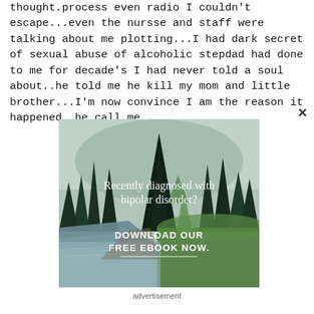thought.process even radio I couldn't escape...even the nursse and staff were talking about me plotting...I had dark secret of sexual abuse of alcoholic stepdad had done to me for decade's I had never told a soul about..he told me he kill my mom and little brother...I'm now convince I am the reason it happened, he call me
[Figure (photo): Forest and river landscape photo with overlaid text: 'Recently diagnosed with bipolar disorder?' and 'DOWNLOAD OUR FREE EBOOK NOW.' with a horizontal white line divider beneath the call to action.]
advertisement